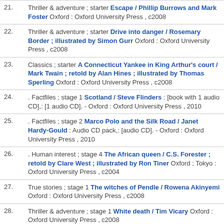21. Thriller & adventure ; starter Escape / Phillip Burrows and Mark Foster Oxford : Oxford University Press , c2008
22. Thriller & adventure ; starter Drive into danger / Rosemary Border ; illustrated by Simon Gurr Oxford : Oxford University Press , c2008
23. Classics ; starter A Connecticut Yankee in King Arthur's court / Mark Twain ; retold by Alan Hines ; illustrated by Thomas Sperling Oxford : Oxford University Press , c2008
24. . Factfiles ; stage 1 Scotland / Steve Flinders : [book with 1 audio CD],: [1 audio CD]. - Oxford : Oxford University Press , 2010
25. . Factfiles ; stage 2 Marco Polo and the Silk Road / Janet Hardy-Gould : Audio CD pack,: [audio CD]. - Oxford : Oxford University Press , 2010
26. . Human interest ; stage 4 The African queen / C.S. Forester ; retold by Clare West ; illustrated by Ron Tiner Oxford ; Tokyo : Oxford University Press , c2004
27. True stories ; stage 1 The witches of Pendle / Rowena Akinyemi Oxford : Oxford University Press , c2008
28. Thriller & adventure ; stage 1 White death / Tim Vicary Oxford : Oxford University Press , c2008
29. Fantasy & horror ; stage 1 Under the moon / Rowena Akinyemi Oxford : Oxford University Press , c2008
30. Classics ; stage 1 The adventures of Tom Sawyer / Mark Twain ; retold by Nick Bullard ; illustrated by Paul Fisher Johnson Oxford : Oxford University Press , c2008